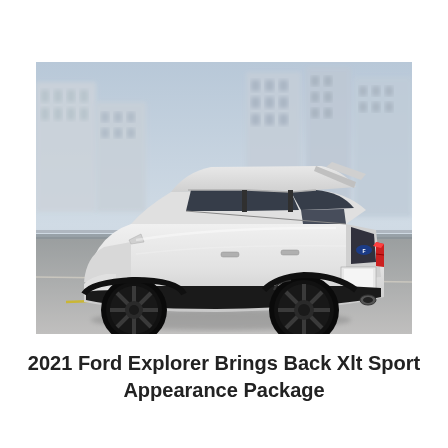[Figure (photo): A white 2021 Ford Explorer SUV with black wheels and black trim driving on a highway, shown from a rear three-quarter angle, with a blurred urban skyline in the background.]
2021 Ford Explorer Brings Back Xlt Sport Appearance Package